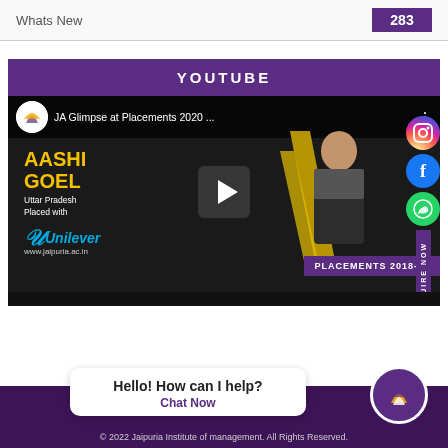Whats New    283
YOUTUBE
[Figure (screenshot): YouTube video thumbnail for 'JA Glimpse at Placements 2020...' featuring Aashi Goel, Uttar Pradesh, Placed with Unilever. Shows PLACEMENTS 2018-20 badge. Social media icons (Instagram, Facebook, WhatsApp) and ENQUIRE NOW sidebar visible.]
Hello! How can I help?
Chat Now
© 2022 Jaipuria Institute of management. All Rights Reserved.